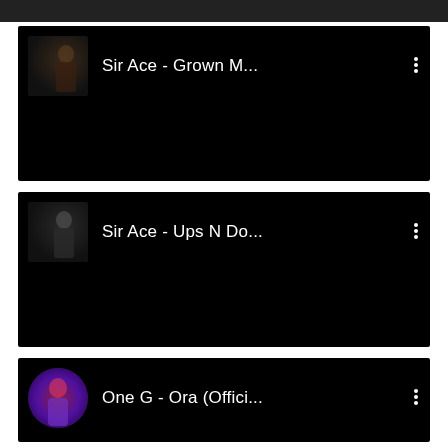[Figure (screenshot): YouTube/music app video list item with dark thumbnail and text: Sir Ace - Grown M...]
[Figure (screenshot): YouTube/music app video list item with dark thumbnail and text: Sir Ace - Ups N Do...]
[Figure (screenshot): YouTube/music app video list item with circular colorful thumbnail and text: One G - Ora (Offici...]